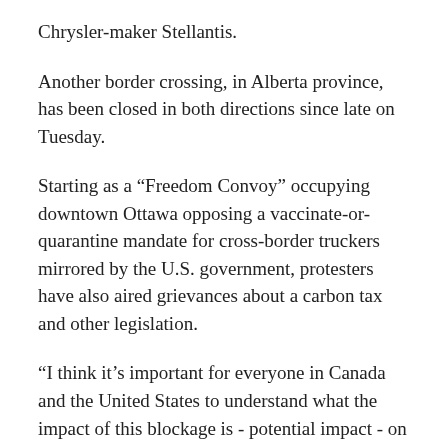Chrysler-maker Stellantis.
Another border crossing, in Alberta province, has been closed in both directions since late on Tuesday.
Starting as a “Freedom Convoy” occupying downtown Ottawa opposing a vaccinate-or-quarantine mandate for cross-border truckers mirrored by the U.S. government, protesters have also aired grievances about a carbon tax and other legislation.
“I think it’s important for everyone in Canada and the United States to understand what the impact of this blockage is - potential impact - on workers, on the supply chain, and that is where we’re most focused,”